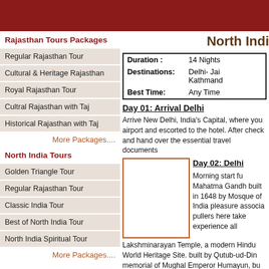Rajasthan Tours Packages
Regular Rajasthan Tour
Cultural & Heritage Rajasthan
Royal Rajasthan Tour
Cultral Rajasthan with Taj
Historical Rajasthan with Taj
More Packages....
North India Tours
Golden Triangle Tour
Regular Rajasthan Tour
Classic India Tour
Best of North India Tour
North India Spiritual Tour
More Packages....
North Indi
|  |  |
| --- | --- |
| Duration : | 14 Nights |
| Destinations: | Delhi- Jai
Kathmand |
| Best Time: | Any Time |
Day 01: Arrival Delhi
Arrive New Delhi, India's Capital, where you airport and escorted to the hotel. After check and hand over the essential travel documents
Day 02: Delhi
[Figure (photo): Image placeholder for Delhi day 2]
Morning start fu Mahatma Gandh built in 1648 by Mosque of India pleasure associa pullers here take experience all Lakshminarayan Temple, a modern Hindu World Heritage Site. built by Qutub-ud-Din memorial of Mughal Emperor Humayun, bu the first example of this type of Mughal